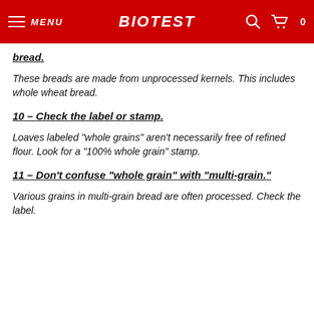MENU | BIOTEST | [search] [cart] 0
bread.
These breads are made from unprocessed kernels. This includes whole wheat bread.
10 – Check the label or stamp.
Loaves labeled "whole grains" aren't necessarily free of refined flour. Look for a "100% whole grain" stamp.
11 – Don't confuse "whole grain" with "multi-grain."
Various grains in multi-grain bread are often processed. Check the label.